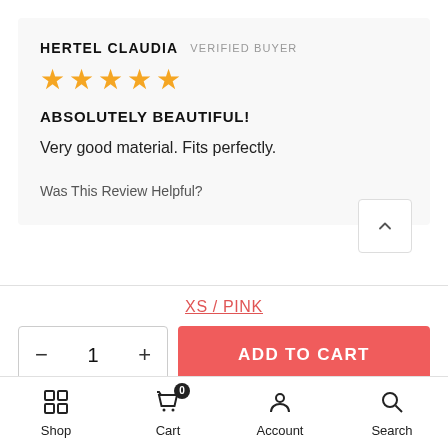HERTEL CLAUDIA VERIFIED BUYER
[Figure (other): 5 gold stars rating]
ABSOLUTELY BEAUTIFUL!
Very good material. Fits perfectly.
Was This Review Helpful?
XS / PINK
- 1 + ADD TO CART
Shop   Cart 0   Account   Search